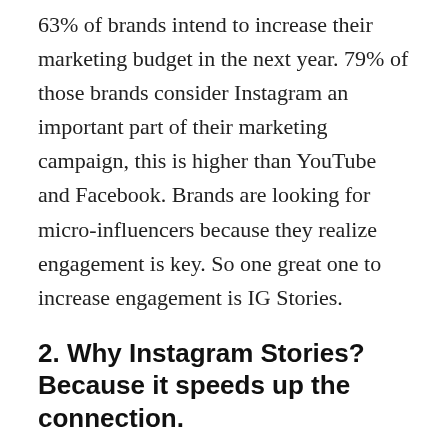63% of brands intend to increase their marketing budget in the next year. 79% of those brands consider Instagram an important part of their marketing campaign, this is higher than YouTube and Facebook. Brands are looking for micro-influencers because they realize engagement is key. So one great one to increase engagement is IG Stories.
2. Why Instagram Stories? Because it speeds up the connection.
You need to ask yourself the following:
What makes you unique?